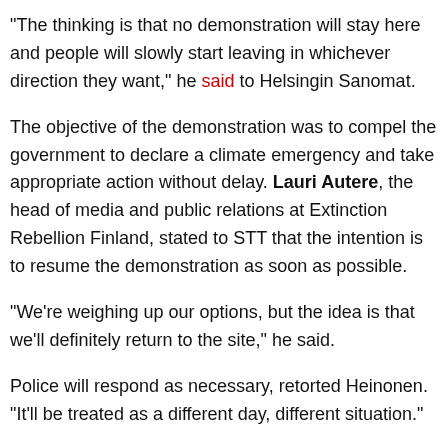“The thinking is that no demonstration will stay here and people will slowly start leaving in whichever direction they want,” he said to Helsingin Sanomat.
The objective of the demonstration was to compel the government to declare a climate emergency and take appropriate action without delay. Lauri Autere, the head of media and public relations at Extinction Rebellion Finland, stated to STT that the intention is to resume the demonstration as soon as possible.
“We’re weighing up our options, but the idea is that we’ll definitely return to the site,” he said.
Police will respond as necessary, retorted Heinonen. “It’ll be treated as a different day, different situation.”
Aleksi Teivainen – HT